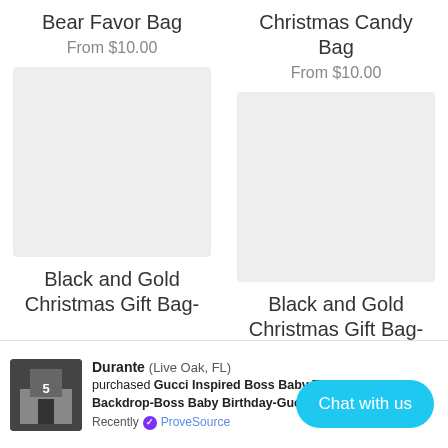Bear Favor Bag
From $10.00
[Figure (photo): Product image placeholder for Bear Favor Bag]
Christmas Candy Bag
From $10.00
[Figure (photo): Product image placeholder for Christmas Candy Bag]
Black and Gold Christmas Gift Bag-
Black and Gold Christmas Gift Bag-
Durante (Live Oak, FL) purchased Gucci Inspired Boss Baby Ta... 4x3 Backdrop-Boss Baby Birthday-Gucci Bos... Recently ProveSource